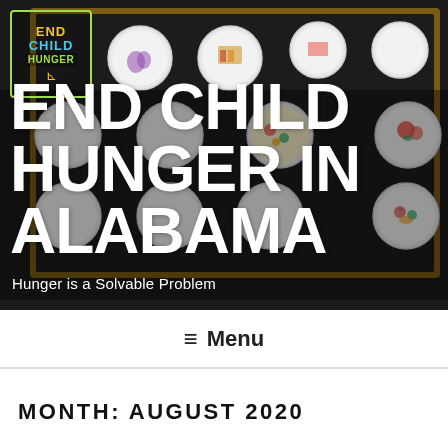[Figure (photo): Hero image showing a dark bulletin board with white paper plates arranged in a grid. Some plates have colorful food drawings. Large white bold text reads 'END CHILD HUNGER IN ALABAMA'. A yellow/green 'End Child Hunger' logo appears in the top-left corner.]
END CHILD HUNGER IN ALABAMA
Hunger is a Solvable Problem
≡ Menu
MONTH: AUGUST 2020